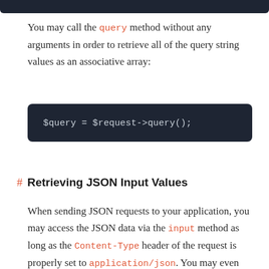You may call the query method without any arguments in order to retrieve all of the query string values as an associative array:
[Figure (screenshot): Dark code block showing PHP code: $query = $request->query();]
# Retrieving JSON Input Values
When sending JSON requests to your application, you may access the JSON data via the input method as long as the Content-Type header of the request is properly set to application/json. You may even use "dot" syntax to retrieve values that are nested within JSON arrays/objects: